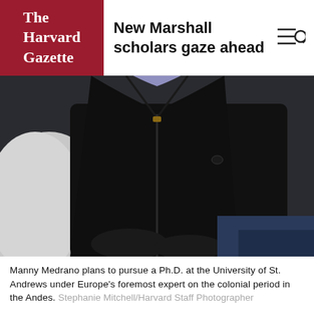The Harvard Gazette
New Marshall scholars gaze ahead
[Figure (photo): Close-up photo of a person wearing a black zip-up fleece jacket, seated, with a white marble or stone surface visible to the left. The person's face is not visible in the frame.]
Manny Medrano plans to pursue a Ph.D. at the University of St. Andrews under Europe's foremost expert on the colonial period in the Andes. Stephanie Mitchell/Harvard Staff Photographer